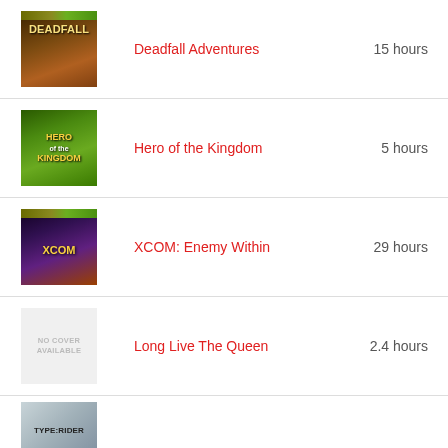Deadfall Adventures — 15 hours
Hero of the Kingdom — 5 hours
XCOM: Enemy Within — 29 hours
Long Live The Queen — 2.4 hours
Type:Rider — (hours not shown)